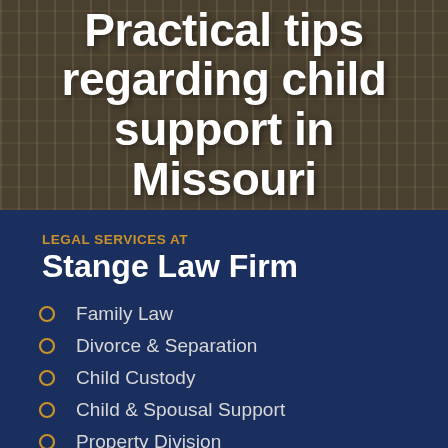Practical tips regarding child support in Missouri
LEGAL SERVICES AT
Stange Law Firm
Family Law
Divorce & Separation
Child Custody
Child & Spousal Support
Property Division